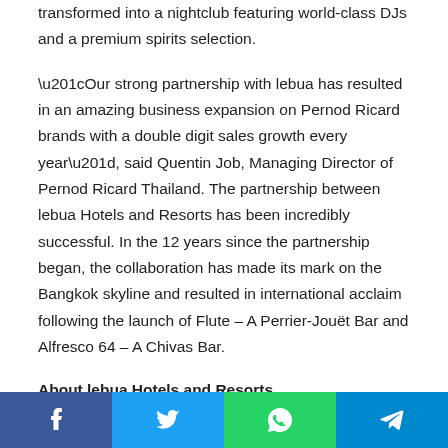transformed into a nightclub featuring world-class DJs and a premium spirits selection.
“Our strong partnership with lebua has resulted in an amazing business expansion on Pernod Ricard brands with a double digit sales growth every year”, said Quentin Job, Managing Director of Pernod Ricard Thailand. The partnership between lebua Hotels and Resorts has been incredibly successful. In the 12 years since the partnership began, the collaboration has made its mark on the Bangkok skyline and resulted in international acclaim following the launch of Flute – A Perrier-Jouët Bar and Alfresco 64 – A Chivas Bar.
About lebua Hotels and Resorts
lebua Hotels and Resorts is a growing international